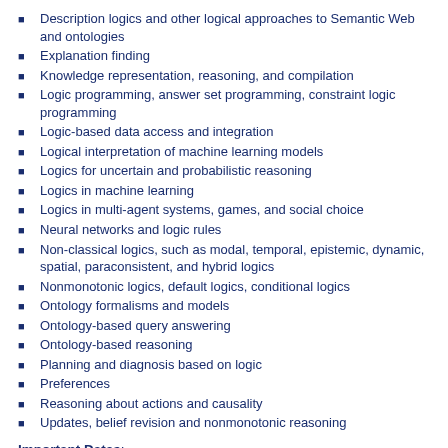Description logics and other logical approaches to Semantic Web and ontologies
Explanation finding
Knowledge representation, reasoning, and compilation
Logic programming, answer set programming, constraint logic programming
Logic-based data access and integration
Logical interpretation of machine learning models
Logics for uncertain and probabilistic reasoning
Logics in machine learning
Logics in multi-agent systems, games, and social choice
Neural networks and logic rules
Non-classical logics, such as modal, temporal, epistemic, dynamic, spatial, paraconsistent, and hybrid logics
Nonmonotonic logics, default logics, conditional logics
Ontology formalisms and models
Ontology-based query answering
Ontology-based reasoning
Planning and diagnosis based on logic
Preferences
Reasoning about actions and causality
Updates, belief revision and nonmonotonic reasoning
Important Dates:
November 26th, 2018, 23:59 UTC-12: Abstract submission
December 3rd, 2018, 23:59 UTC-12: Paper submission
January 16th, 2019: Notification of acceptance
February 28th, 2019: Camera-ready due
March 1st, 2019: Online registration opens